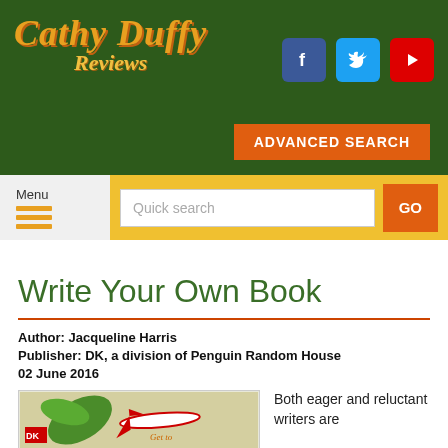[Figure (logo): Cathy Duffy Reviews logo with social media icons (Facebook, Twitter, YouTube)]
ADVANCED SEARCH
Menu
Quick search
GO
Write Your Own Book
Author: Jacqueline Harris
Publisher: DK, a division of Penguin Random House
02 June 2016
[Figure (photo): Book cover of Write Your Own Book by DK, showing a leaf and an airplane]
Both eager and reluctant writers are